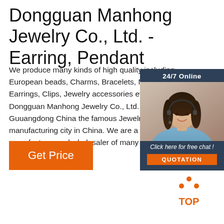Dongguan Manhong Jewelry Co., Ltd. - Earring, Pendant
We produce many kinds of high quality including European beads, Charms, Bracelets, Necklaces, Earrings, Clips, Jewelry accessories etc. Dongguan Manhong Jewelry Co., Ltd. is located in Guuangdong China the famous Jewelry Manufacturing city in China. We are a professional manufacturer and wholesaler of many kinds of fashion jewelry.
[Figure (photo): Customer service representative with headset, 24/7 Online chat widget with QUOTATION button]
[Figure (other): Get Price button in orange]
[Figure (other): TOP scroll-to-top icon with orange dots]